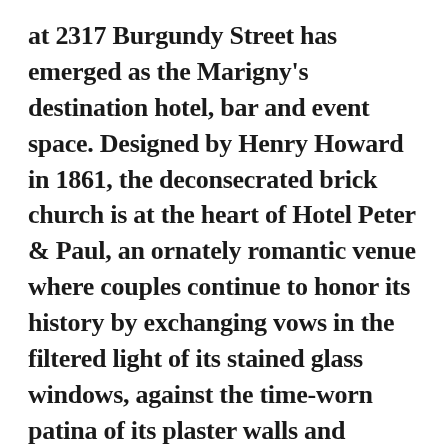at 2317 Burgundy Street has emerged as the Marigny's destination hotel, bar and event space. Designed by Henry Howard in 1861, the deconsecrated brick church is at the heart of Hotel Peter & Paul, an ornately romantic venue where couples continue to honor its history by exchanging vows in the filtered light of its stained glass windows, against the time-worn patina of its plaster walls and beneath the gaze of its saints and angels.